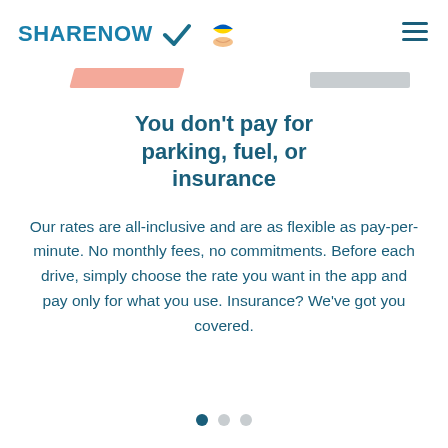SHARENOW
You don't pay for parking, fuel, or insurance
Our rates are all-inclusive and are as flexible as pay-per-minute. No monthly fees, no commitments. Before each drive, simply choose the rate you want in the app and pay only for what you use. Insurance? We've got you covered.
You can drive whe you feel like
We don't do car rental That means: No closing ever. Our cars are ava 24/7 so you don't have ahead of time. If you available SHARE NOW can always simply hop drive.